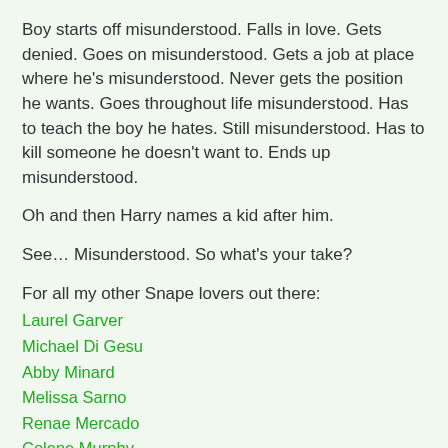Boy starts off misunderstood. Falls in love. Gets denied. Goes on misunderstood. Gets a job at place where he's misunderstood. Never gets the position he wants. Goes throughout life misunderstood. Has to teach the boy he hates. Still misunderstood. Has to kill someone he doesn't want to. Ends up misunderstood.
Oh and then Harry names a kid after him.
See… Misunderstood. So what's your take?
For all my other Snape lovers out there:
Laurel Garver
Michael Di Gesu
Abby Minard
Melissa Sarno
Renae Mercado
Colene Murphy
Lisa Galek
Unknown at 6:30 AM     34 comments: